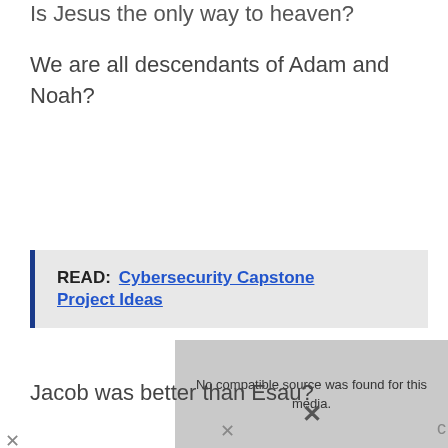Is Jesus the only way to heaven?
We are all descendants of Adam and Noah?
READ:   Cybersecurity Capstone Project Ideas
[Figure (screenshot): Video player overlay showing 'No compatible source was found for this media.' with a close X button]
Jacob was better than Esau?